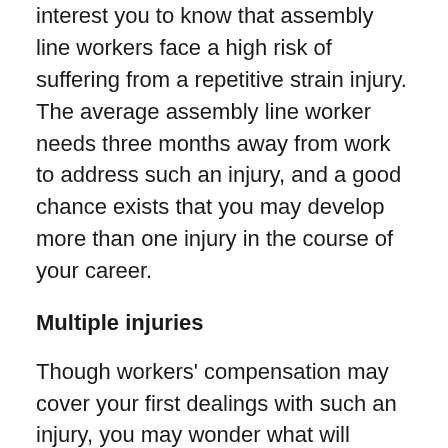interest you to know that assembly line workers face a high risk of suffering from a repetitive strain injury. The average assembly line worker needs three months away from work to address such an injury, and a good chance exists that you may develop more than one injury in the course of your career.
Multiple injuries
Though workers' compensation may cover your first dealings with such an injury, you may wonder what will happen if you suffer additional problems due to repetitive motion issues. You can apply for benefits multiple times, but the chances of obtaining financial assistance may prove more difficult each time. Most individuals' injuries return to the same part of the body, but if the additional injury affects a different area, you may have an easier time gaining more